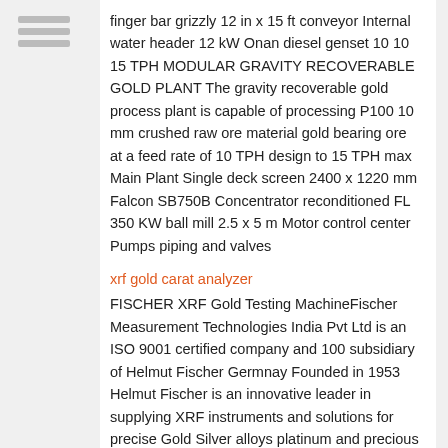finger bar grizzly 12 in x 15 ft conveyor Internal water header 12 kW Onan diesel genset 10 10 15 TPH MODULAR GRAVITY RECOVERABLE GOLD PLANT The gravity recoverable gold process plant is capable of processing P100 10 mm crushed raw ore material gold bearing ore at a feed rate of 10 TPH design to 15 TPH max Main Plant Single deck screen 2400 x 1220 mm Falcon SB750B Concentrator reconditioned FL 350 KW ball mill 2.5 x 5 m Motor control center Pumps piping and valves
xrf gold carat analyzer
FISCHER XRF Gold Testing MachineFischer Measurement Technologies India Pvt Ltd is an ISO 9001 certified company and 100 subsidiary of Helmut Fischer Germnay Founded in 1953 Helmut Fischer is an innovative leader in supplying XRF instruments and solutions for precise Gold Silver alloys platinum and precious metal testing Today FISCHER instruments are widely being used in the field of Hallmarking Centre XRFGlobal The Innov X GoldXpert gold XRF analyzer is an easy to-use cost effective method to obtain alloy chemistry and karat classification with one nondestructive and nonintrusive test Additionally an exclusive GoldXpert software feature helps identify gold plated objects and sends an alert to the screen Portable Countertop Gold Xpert XRF